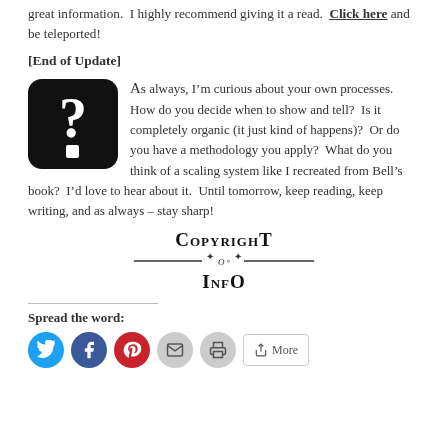great information.  I highly recommend giving it a read.  Click here and be teleported!
[End of Update]
[Figure (illustration): Black rounded-square icon with a large white question mark]
As always, I’m curious about your own processes.  How do you decide when to show and tell?  Is it completely organic (it just kind of happens)?  Or do you have a methodology you apply?  What do you think of a scaling system like I recreated from Bell’s book?  I’d love to hear about it.  Until tomorrow, keep reading, keep writing, and as always – stay sharp!
[Figure (illustration): Copyright Info decorative text logo with small-caps lettering and ornamental divider]
Spread the word:
[Figure (infographic): Social sharing buttons: Twitter (blue circle), Facebook (blue circle), Pinterest (red circle), Email (grey circle), Print (grey circle), More button]